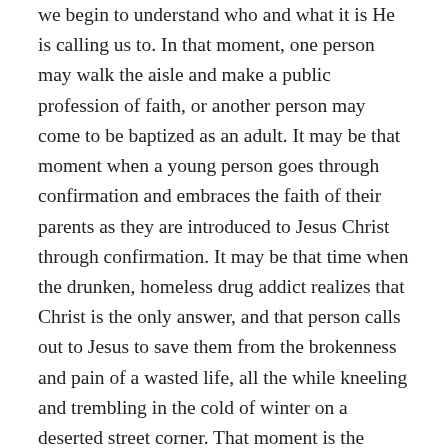we begin to understand who and what it is He is calling us to. In that moment, one person may walk the aisle and make a public profession of faith, or another person may come to be baptized as an adult. It may be that moment when a young person goes through confirmation and embraces the faith of their parents as they are introduced to Jesus Christ through confirmation. It may be that time when the drunken, homeless drug addict realizes that Christ is the only answer, and that person calls out to Jesus to save them from the brokenness and pain of a wasted life, all the while kneeling and trembling in the cold of winter on a deserted street corner. That moment is the “justifying” grace of God, and it, too is an encounter of God’s salvation. It is a very important encounter, but it is not the singular defining experience of salvation.